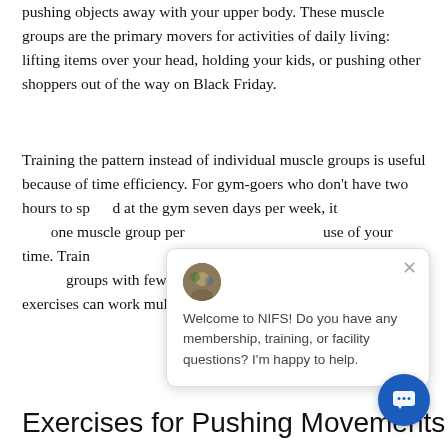pushing objects away with your upper body. These muscle groups are the primary movers for activities of daily living: lifting items over your head, holding your kids, or pushing other shoppers out of the way on Black Friday.
Training the pattern instead of individual muscle groups is useful because of time efficiency. For gym-goers who don't have two hours to spend at the gym seven days per week, it [is not a good use of your time. Training movement] patterns will ensure that [you hit all the muscle] groups with fewer exercises, [given] that correctly chosen exercises can work multiple muscle groups at the same time.
Exercises for Pushing Movements
[Figure (screenshot): Chat popup overlay from NIFS website with avatar, close button, and message: 'Welcome to NIFS! Do you have any membership, training, or facility questions? I'm happy to help.' A blue circular chat button is visible in the lower right.]